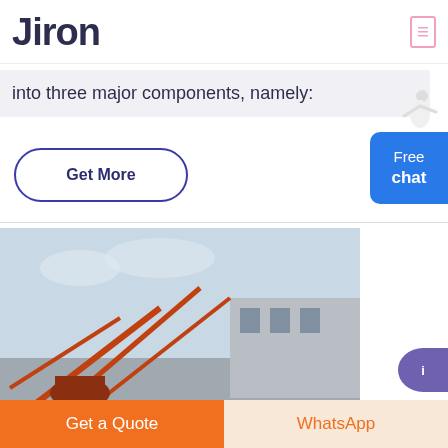Jiron
into three major components, namely:
Get More
Free chat
[Figure (photo): Industrial mining equipment facility with orange conveyor structures and a building in background, XME Mining Equipment logo overlay]
Get a Quote
WhatsApp